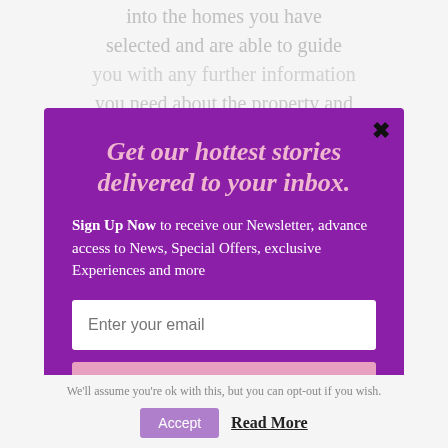into the homes you have selected and are able to guide you with any further information you need about the property and the community. Being local, your agent is better suited to guide you through the current market … Referrals from family and friends …
[Figure (screenshot): Email newsletter signup modal popup with purple background. Title: 'Get our hottest stories delivered to your inbox.' Body text: 'Sign Up Now to receive our Newsletter, advance access to News, Special Offers, exclusive Experiences and more'. Email input field and Submit button.]
We'll assume you're ok with this, but you can opt-out if you wish.
powered by MailMunch